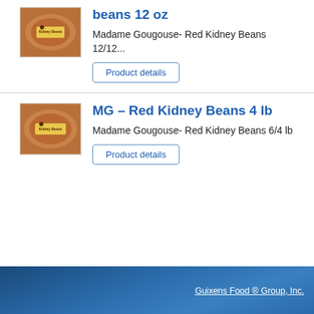beans 12 oz
Madame Gougouse- Red Kidney Beans 12/12...
Product details
[Figure (photo): Package of Madame Gougouse Red Kidney Beans 12 oz]
MG - Red Kidney Beans 4 lb
Madame Gougouse- Red Kidney Beans 6/4 lb
Product details
[Figure (photo): Package of Madame Gougouse Red Kidney Beans 4 lb]
Guixens Food ® Group, Inc.